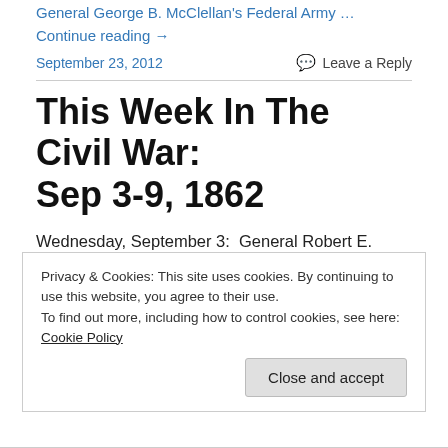General George B. McClellan's Federal Army … Continue reading →
September 23, 2012
Leave a Reply
This Week In The Civil War: Sep 3-9, 1862
Wednesday, September 3:  General Robert E. Lee's Army of Northern Virginia began moving to relieve Federal pressure on Virginia by invading the North. The troops
Privacy & Cookies: This site uses cookies. By continuing to use this website, you agree to their use.
To find out more, including how to control cookies, see here: Cookie Policy
Close and accept